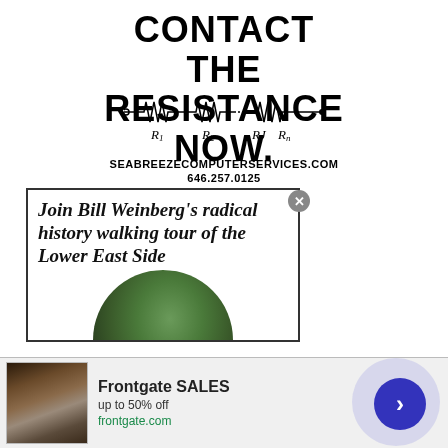CONTACT THE RESISTANCE NOW.
[Figure (engineering-diagram): Circuit diagram showing resistors R1, R2, RJ, Rn connected in series with wire symbols]
SEABREEZECOMPUTERSERVICES.COM
646.257.0125
[Figure (illustration): Advertisement box: Join Bill Weinberg's radical history walking tour of the Lower East Side, with circular photo of person outdoors]
[Figure (photo): Frontgate SALES advertisement banner with fire pit photo, text: up to 50% off, frontgate.com]